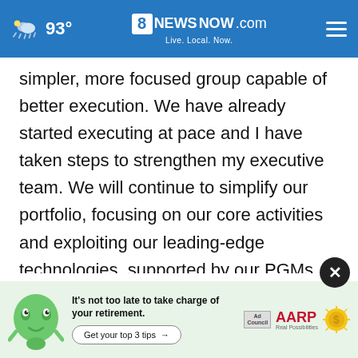8NewsNOW.com — Live. Local. Now. | 93°
simpler, more focused group capable of better execution. We have already started executing at pace and I have taken steps to strengthen my executive team. We will continue to simplify our portfolio, focusing on our core activities and exploiting our leading-edge technologies, supported by our PGMs backbone. I am very confident we will create significant value with a faster paced, more customer-focused culture to beco[me increasingly important...] impo[rtant...]
[Figure (screenshot): AARP retirement advertisement banner with illustrated green character, headline 'It's not too late to take charge of your retirement. Get your top 3 tips →', Ad Council logo, AARP logo with tagline 'Real Possibilities', and a golden coin sun icon. A dark circular close button (×) overlaps the top-right of the ad.]